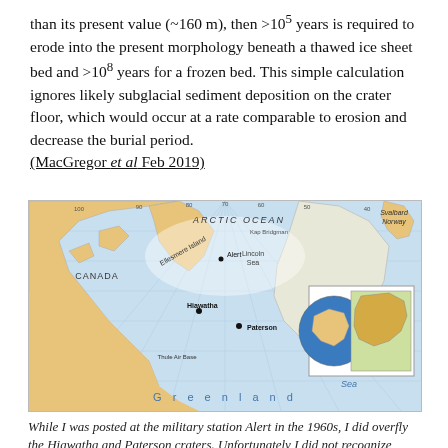than its present value (~160 m), then >10^5 years is required to erode into the present morphology beneath a thawed ice sheet bed and >10^8 years for a frozen bed. This simple calculation ignores likely subglacial sediment deposition on the crater floor, which would occur at a rate comparable to erosion and decrease the burial period. (MacGregor et al Feb 2019)
[Figure (map): Map of the Arctic Ocean region showing Canada, Greenland, Svalbard (Norway), and the Arctic Ocean. Labeled locations include Alert, Lincoln Sea, Ellesmere Island, Hiawatha crater, Paterson crater, Thule Air Base, and Greenland Sea. An inset globe shows the location of Greenland in a broader North American context.]
While I was posted at the military station Alert in the 1960s, I did overfly the Hiawatha and Paterson craters. Unfortunately I did not recognize them as "crater-like" structures.